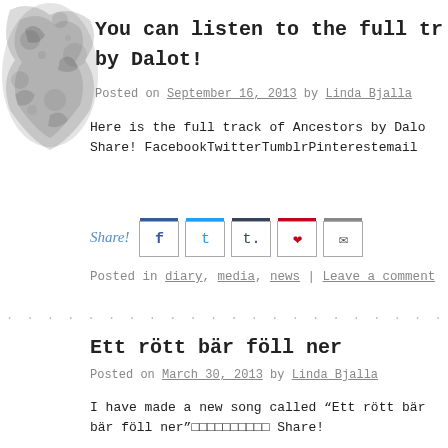You can listen to the full tr... by Dalot!
Posted on September 16, 2013 by Linda Bjalla
Here is the full track of Ancestors by Dalo... Share! FacebookTwitterTumblrPinterestemail
Share! [social icons: Facebook, Twitter, Tumblr, Pinterest, email]
Posted in diary, media, news | Leave a comment
· · · · · · · · · · · · · · · · · · · · · · · · · · · · · ·
Ett rött bär föll ner
Posted on March 30, 2013 by Linda Bjalla
I have made a new song called "Ett rött bär föll ner" Share!